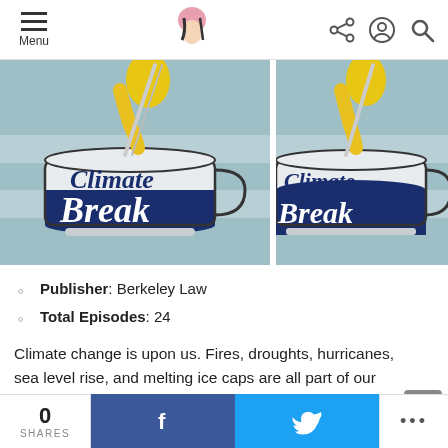Menu | [site logo] | [share] [account] [search]
[Figure (illustration): Two side-by-side Climate Break podcast logos: glass teapot/mug with 'Climate' in dark teal and 'Break' in white on navy blue, with yellow liquid being poured in, on a muted teal background.]
Publisher: Berkeley Law
Total Episodes: 24
Climate change is upon us. Fires, droughts, hurricanes, sea level rise, and melting ice caps are all part of our new normal. But something else is
0 SHARES | f | [twitter bird] | ...